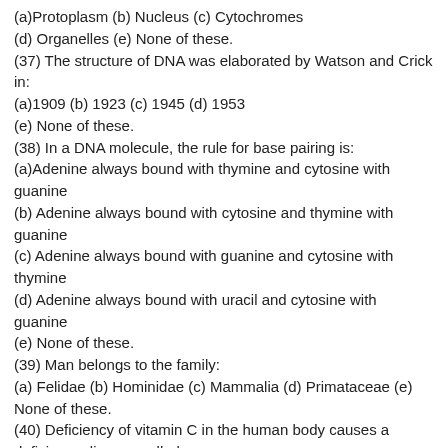(a)Protoplasm (b) Nucleus (c) Cytochromes (d) Organelles (e) None of these.
(37) The structure of DNA was elaborated by Watson and Crick in: (a)1909 (b) 1923 (c) 1945 (d) 1953 (e) None of these.
(38) In a DNA molecule, the rule for base pairing is: (a)Adenine always bound with thymine and cytosine with guanine (b) Adenine always bound with cytosine and thymine with guanine (c) Adenine always bound with guanine and cytosine with thymine (d) Adenine always bound with uracil and cytosine with guanine (e) None of these.
(39) Man belongs to the family: (a) Felidae (b) Hominidae (c) Mammalia (d) Primataceae (e) None of these.
(40) Deficiency of vitamin C in the human body causes a deficiency disease called: (a)Beriberi (b) Night blindness (c) Rickets(d) Scurvy  (e) None of these.
(41) To measure the specific gravity of milk, the instrument used is: (a)Hygrometer (b) Barometer (c) Lactometer (d)Hydrometer(e) None of these.